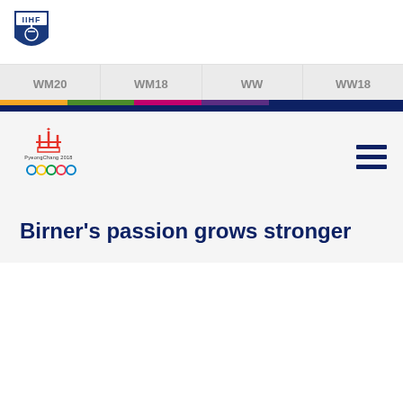[Figure (logo): IIHF logo - blue shield with hockey player silhouette]
WM20  WM18  WW  WW18
[Figure (logo): PyeongChang 2018 Olympic Winter Games logo with Olympic rings]
Birner's passion grows stronger